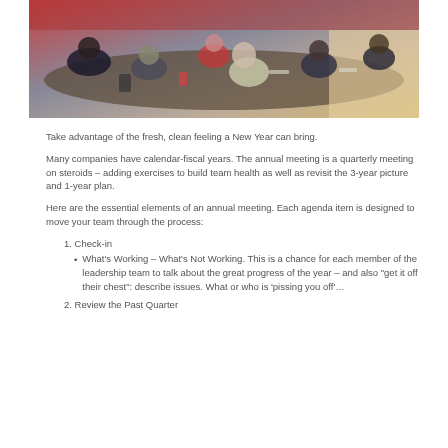[Figure (photo): Group of people sitting around a conference table in a meeting room, viewed from the side, with papers and drinks on the table.]
Take advantage of the fresh, clean feeling a New Year can bring.
Many companies have calendar-fiscal years. The annual meeting is a quarterly meeting on steroids – adding exercises to build team health as well as revisit the 3-year picture and 1-year plan.
Here are the essential elements of an annual meeting. Each agenda item is designed to move your team through the process:
1. Check-in
What's Working – What's Not Working. This is a chance for each member of the leadership team to talk about the great progress of the year – and also "get it off their chest": describe issues. What or who is 'pissing you off'…
2. Review the Past Quarter